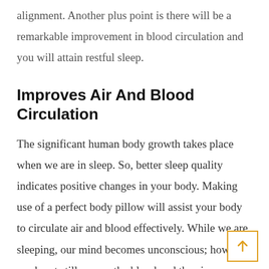alignment. Another plus point is there will be a remarkable improvement in blood circulation and you will attain restful sleep.
Improves Air And Blood Circulation
The significant human body growth takes place when we are in sleep. So, better sleep quality indicates positive changes in your body. Making use of a perfect body pillow will assist your body to circulate air and blood effectively. While we are sleeping, our mind becomes unconscious; however, our heart still pumps the blood and the air circulation